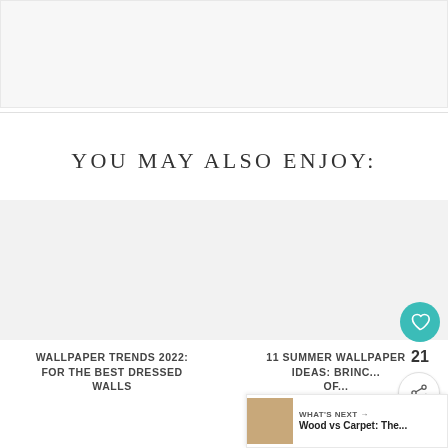[Figure (other): Gray placeholder image area at the top of the page]
YOU MAY ALSO ENJOY:
[Figure (other): Card image placeholder for Wallpaper Trends 2022 article]
WALLPAPER TRENDS 2022: FOR THE BEST DRESSED WALLS
[Figure (other): Card image placeholder for 11 Summer Wallpaper Ideas article]
11 SUMMER WALLPAPER IDEAS: BRINC... OF...
[Figure (other): What's Next bar with Wood vs Carpet thumbnail and text]